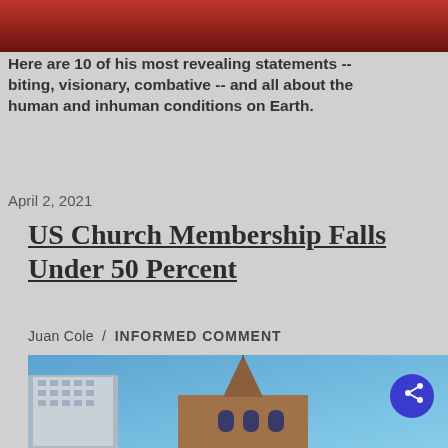[Figure (photo): Top portion of an image with red/dark background, partially visible]
Here are 10 of his most revealing statements -- biting, visionary, combative -- and all about the human and inhuman conditions on Earth.
April 2, 2021
US Church Membership Falls Under 50 Percent
Juan Cole / INFORMED COMMENT
[Figure (photo): Photo of a church steeple against a blue sky, with a modern building visible to the left]